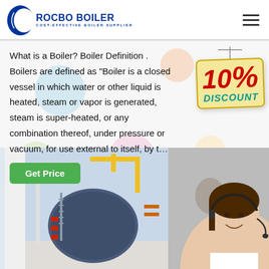[Figure (logo): Rocbo Boiler logo with crescent C icon and text ROCBO BOILER / COST-EFFECTIVE BOILER SUPPLIER in blue]
What is a Boiler? Boiler Definition . Boilers are defined as "Boiler is a closed vessel in which water or other liquid is heated, steam or vapor is generated, steam is super-heated, or any combination thereof, under pressure or vacuum, for use external to itself, by t…
[Figure (infographic): 10% DISCOUNT badge in cream/yellow background with red and teal text, hanging sign style]
Get Price
[Figure (photo): Industrial boiler equipment photo on left showing a large blue cylindrical boiler with yellow crane structure in a factory setting; customer service representative wearing headset smiling on right side]